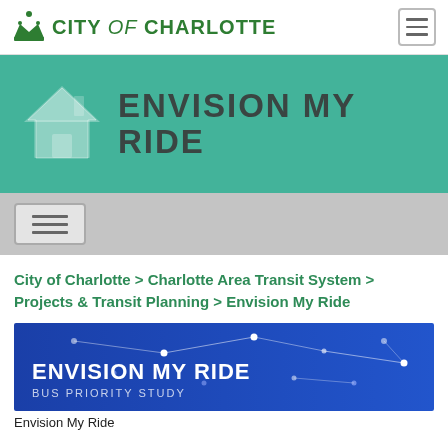CITY of CHARLOTTE [hamburger menu]
[Figure (logo): Envision My Ride banner with house/home icon on teal background]
[Figure (screenshot): Mobile nav hamburger button on grey bar]
City of Charlotte > Charlotte Area Transit System > Projects & Transit Planning > Envision My Ride
[Figure (photo): Envision My Ride Bus Priority Study banner image on blue background with network dot pattern]
Envision My Ride